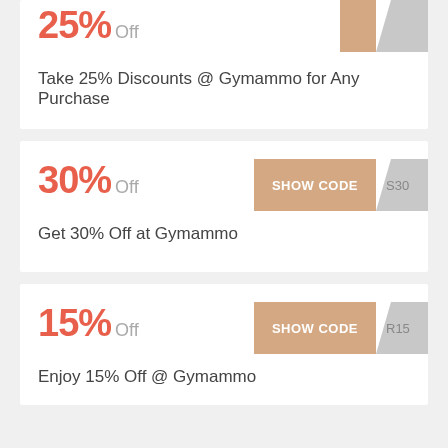25% Off
Take 25% Discounts @ Gymammo for Any Purchase
30% Off
Get 30% Off at Gymammo
15% Off
Enjoy 15% Off @ Gymammo